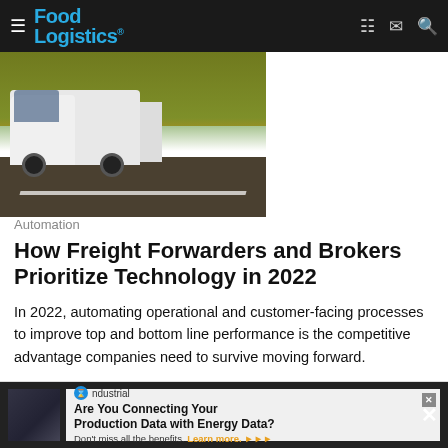Food Logistics
[Figure (photo): White semi-trucks driving on a highway road surrounded by autumn trees]
Automation
How Freight Forwarders and Brokers Prioritize Technology in 2022
In 2022, automating operational and customer-facing processes to improve top and bottom line performance is the competitive advantage companies need to survive moving forward.
Descartes Systems Group    August 10, 2022
[Figure (infographic): Advertisement banner: ndustrial - Are You Connecting Your Production Data with Energy Data? Don't miss all the benefits. Learn more.]